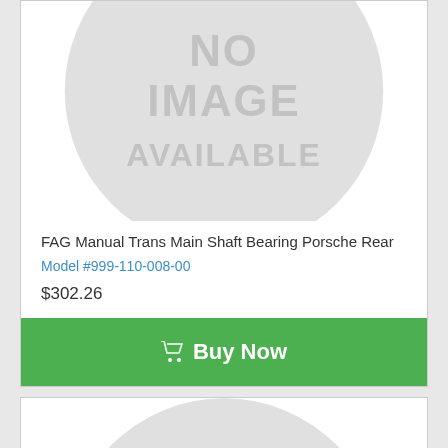[Figure (illustration): No Image Available placeholder with circular grey background and 'NO IMAGE AVAILABLE' text in grey]
FAG Manual Trans Main Shaft Bearing Porsche Rear
Model #999-110-008-00
$302.26
Buy Now
[Figure (illustration): No Image Available placeholder, partially visible at bottom]